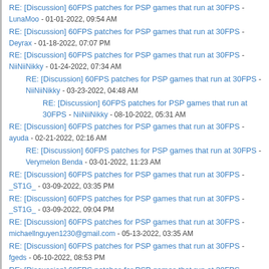RE: [Discussion] 60FPS patches for PSP games that run at 30FPS - LunaMoo - 01-01-2022, 09:54 AM
RE: [Discussion] 60FPS patches for PSP games that run at 30FPS - Deyrax - 01-18-2022, 07:07 PM
RE: [Discussion] 60FPS patches for PSP games that run at 30FPS - NiiNiiNikky - 01-24-2022, 07:34 AM
RE: [Discussion] 60FPS patches for PSP games that run at 30FPS - NiiNiiNikky - 03-23-2022, 04:48 AM
RE: [Discussion] 60FPS patches for PSP games that run at 30FPS - NiiNiiNikky - 08-10-2022, 05:31 AM
RE: [Discussion] 60FPS patches for PSP games that run at 30FPS - ayuda - 02-21-2022, 02:16 AM
RE: [Discussion] 60FPS patches for PSP games that run at 30FPS - Verymelon Benda - 03-01-2022, 11:23 AM
RE: [Discussion] 60FPS patches for PSP games that run at 30FPS - _ST1G_ - 03-09-2022, 03:35 PM
RE: [Discussion] 60FPS patches for PSP games that run at 30FPS - _ST1G_ - 03-09-2022, 09:04 PM
RE: [Discussion] 60FPS patches for PSP games that run at 30FPS - michaellnguyen1230@gmail.com - 05-13-2022, 03:35 AM
RE: [Discussion] 60FPS patches for PSP games that run at 30FPS - fgeds - 06-10-2022, 08:53 PM
RE: [Discussion] 60FPS patches for PSP games that run at 30FPS - LunaMoo - 06-11-2022, 06:20 PM
RE: [Discussion] 60FPS patches for PSP games that run at 30FPS